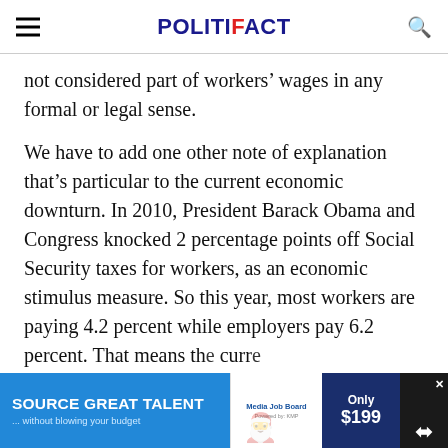POLITIFACT
not considered part of workers’ wages in any formal or legal sense.
We have to add one other note of explanation that’s particular to the current economic downturn. In 2010, President Barack Obama and Congress knocked 2 percentage points off Social Security taxes for workers, as an economic stimulus measure. So this year, most workers are paying 4.2 percent while employers pay 6.2 percent. That means th[e] curre[nt situation is...] but
[Figure (screenshot): Advertisement banner: 'SOURCE GREAT TALENT ... without blowing your budget' from Media Job Board, priced at Only $199, with share/close icons.]